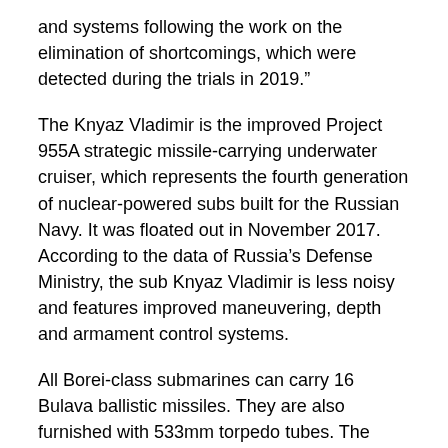and systems following the work on the elimination of shortcomings, which were detected during the trials in 2019."
The Knyaz Vladimir is the improved Project 955A strategic missile-carrying underwater cruiser, which represents the fourth generation of nuclear-powered subs built for the Russian Navy. It was floated out in November 2017. According to the data of Russia’s Defense Ministry, the sub Knyaz Vladimir is less noisy and features improved maneuvering, depth and armament control systems.
All Borei-class submarines can carry 16 Bulava ballistic missiles. They are also furnished with 533mm torpedo tubes. The shipbuilders earlier planned to deliver the nuclear-powered sub Knyaz Vladimir to the Russian Navy by the end of 2019.